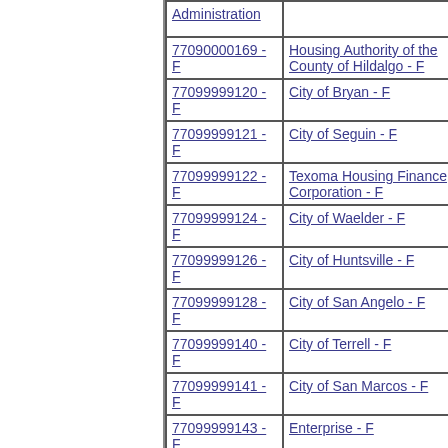| ID | Name |
| --- | --- |
| Administration (partial) |  |
| 77090000169 - F | Housing Authority of the County of Hildalgo - F |
| 77099999120 - F | City of Bryan - F |
| 77099999121 - F | City of Seguin - F |
| 77099999122 - F | Texoma Housing Finance Corporation - F |
| 77099999124 - F | City of Waelder - F |
| 77099999126 - F | City of Huntsville - F |
| 77099999128 - F | City of San Angelo - F |
| 77099999140 - F | City of Terrell - F |
| 77099999141 - F | City of San Marcos - F |
| 77099999143 - F | Enterprise - F |
| 77099999170 - | Midland County Housing (partial) |